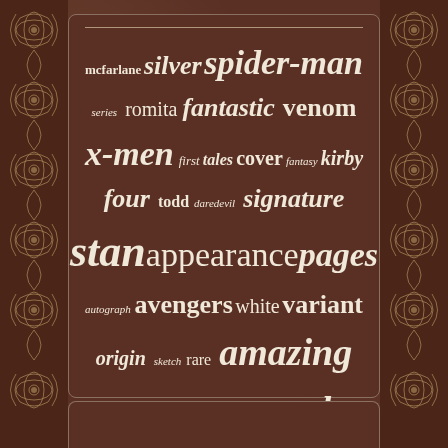[Figure (infographic): Word cloud about comic books and collectibles on a brown ornamental background. Words include: mcfarlane, silver, spider-man, series, romita, fantastic, venom, x-men, first, tales, cover, fantasy, kirby, four, todd, daredevil, signature, stan, appearance, pages, autograph, avengers, white, variant, origin, sketch, rare, amazing, spiderman, surfer, marvel, signed, hulk, comics, comic]